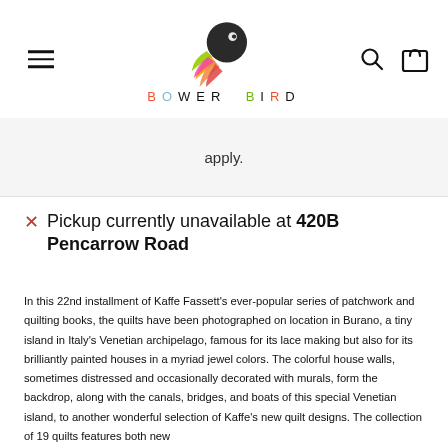BOWER BIRD
apply.
Pickup currently unavailable at 420B Pencarrow Road
In this 22nd installment of Kaffe Fassett's ever-popular series of patchwork and quilting books, the quilts have been photographed on location in Burano, a tiny island in Italy's Venetian archipelago, famous for its lace making but also for its brilliantly painted houses in a myriad jewel colors. The colorful house walls, sometimes distressed and occasionally decorated with murals, form the backdrop, along with the canals, bridges, and boats of this special Venetian island, to another wonderful selection of Kaffe's new quilt designs. The collection of 19 quilts features both new